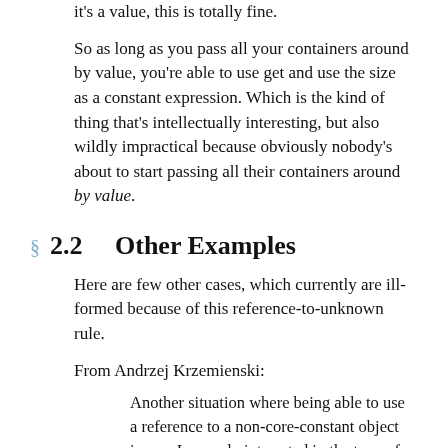it's a value, this is totally fine.
So as long as you pass all your containers around by value, you're able to use get and use the size as a constant expression. Which is the kind of thing that's intellectually interesting, but also wildly impractical because obviously nobody's about to start passing all their containers around by value.
2.2    Other Examples
Here are few other cases, which currently are ill-formed because of this reference-to-unknown rule.
From Andrzej Krzemienski:
Another situation where being able to use a reference to a non-core-constant object is wen I am only interested in the type of the reference rather than the value of the object:
template <typename T, typename U>